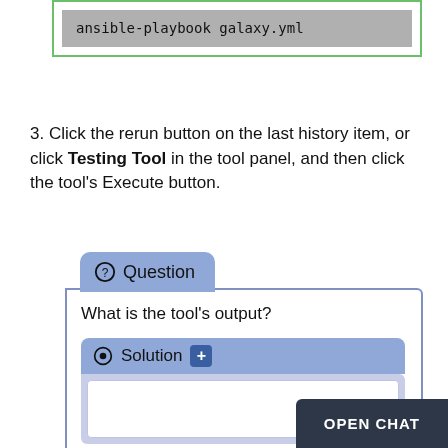[Figure (screenshot): Code block showing 'ansible-playbook galaxy.yml' in a gray background inside a green-bordered box]
3. Click the rerun button on the last history item, or click Testing Tool in the tool panel, and then click the tool's Execute button.
[Figure (screenshot): A Question callout box with text 'What is the tool's output?' containing a Solution expandable section with a plus button and an empty white content area]
OPEN CHAT